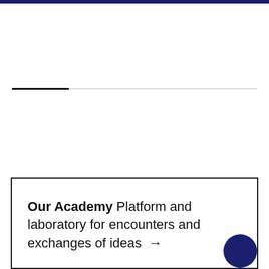Our Academy Platform and laboratory for encounters and exchanges of ideas →